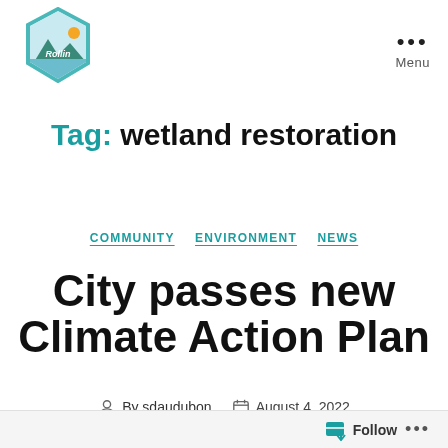[Figure (logo): Rollin logo — hexagon shaped badge with teal border, landscape scene inside, stylized text 'Rollin']
Menu
Tag: wetland restoration
COMMUNITY   ENVIRONMENT   NEWS
City passes new Climate Action Plan
By sdaudubon   August 4, 2022
Follow